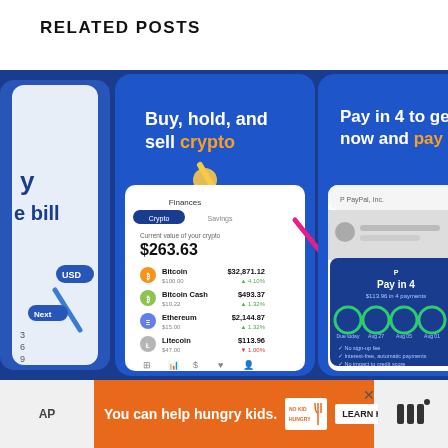RELATED POSTS
[Figure (screenshot): Four mobile app screenshots showing PayPal app features: (1) partial view with 'y bill' text, (2) 'Buy, hold, and sell crypto' screen showing crypto portfolio with Bitcoin $32,871.12, Bitcoin Cash $493.37, Ethereum $2,144.87, Litecoin $113.96, total $263.63, (3) 'Pay in 4 to get it now and pay later' screen showing PayPal Pay in 4 installment plan interface, (4) partial 'Easily amaz' screen with cash back offers]
[Figure (screenshot): Advertisement banner: orange background with text 'You can help hungry kids.' featuring No Kid Hungry logo and 'LEARN HOW' button]